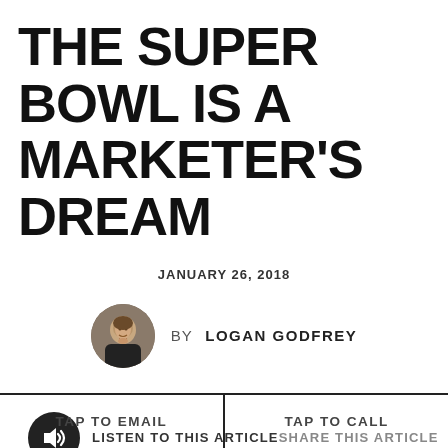THE SUPER BOWL IS A MARKETER'S DREAM
JANUARY 26, 2018
BY LOGAN GODFREY
LISTEN TO THIS ARTICLE
SHARE THIS ARTICLE
TAP TO EMAIL
TAP TO CALL